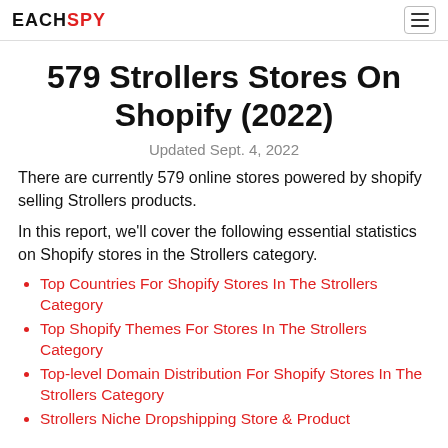EACHSPY
579 Strollers Stores On Shopify (2022)
Updated Sept. 4, 2022
There are currently 579 online stores powered by shopify selling Strollers products.
In this report, we'll cover the following essential statistics on Shopify stores in the Strollers category.
Top Countries For Shopify Stores In The Strollers Category
Top Shopify Themes For Stores In The Strollers Category
Top-level Domain Distribution For Shopify Stores In The Strollers Category
Strollers Niche Dropshipping Store & Product